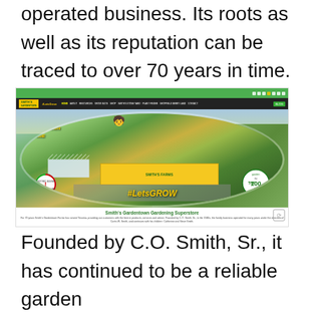operated business. Its roots as well as its reputation can be traced to over 70 years in time.
[Figure (screenshot): Screenshot of Smith's Gardentown Gardening Superstore website showing aerial view of the farm/store with #LetsGROW branding, Historic Business Texas Treasure badge, and Top 100 Garden Centers badge. The site has a green navigation bar and shows the store from above.]
Smith's Gardentown Gardening Superstore - For 70 years Smith's Gardentown Farms has served Texoma, providing our customers with the best in products, services and advice. Founded by C.O. Smith, Sr., in the 1940s, the family business operated for many years under the direction of Curtis W. Smith, and continues with his children: Catherine and Steve Smith.
Founded by C.O. Smith, Sr., it has continued to be a reliable garden